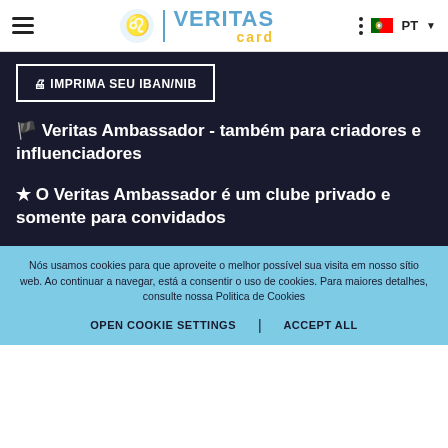Veritas card - navigation header with hamburger menu, logo, dots menu, PT language selector
IMPRIMA SEU IBAN/NIB
🏴 Veritas Ambassador - também para criadores e influenciadores
★ O Veritas Ambassador é um clube privado e somente para convidados
Nós usamos cookies para que aproveite o melhor possível sua visita em nosso sítio web. Ao continuar a navegar, está a consentir o uso de cookies. Para maiores detalhes, consulte nossa Politica de Cookies
OPEN COOKIE SETTINGS | ACCEPT ALL